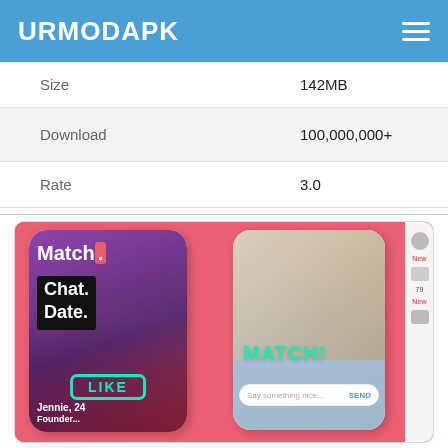URMODAPK
|  |  |
| --- | --- |
| Size | 142MB |
| Download | 100,000,000+ |
| Rate | 3.0 |
[Figure (screenshot): App screenshots showing a dating app with 'Match. Chat. Date.' text, a woman posing with a LIKE badge, and a MATCH! screen with two people]